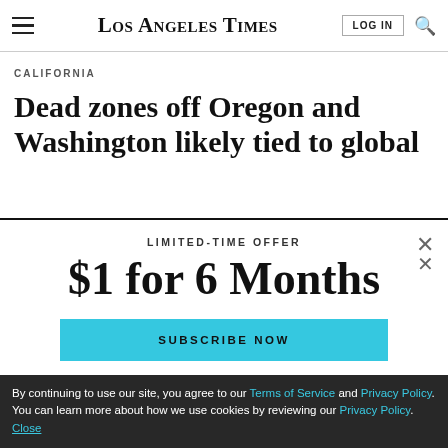Los Angeles Times
CALIFORNIA
Dead zones off Oregon and Washington likely tied to global
LIMITED-TIME OFFER
$1 for 6 Months
SUBSCRIBE NOW
By continuing to use our site, you agree to our Terms of Service and Privacy Policy. You can learn more about how we use cookies by reviewing our Privacy Policy. Close
Season 5 of The Times' go-to podcast is here with